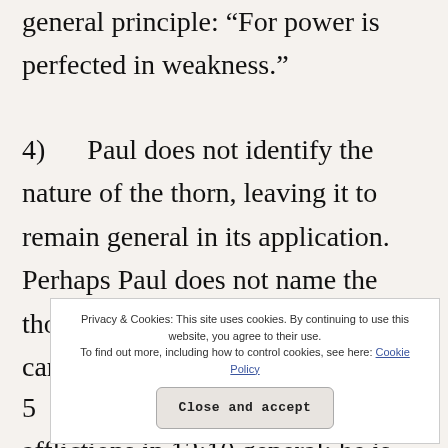general principle: “For power is perfected in weakness.”
4) Paul does not identify the nature of the thorn, leaving it to remain general in its application. Perhaps Paul does not name the thorn so that more of the believers can a
5
afflictions in 12:10 general: he is content in
Privacy & Cookies: This site uses cookies. By continuing to use this website, you agree to their use.
To find out more, including how to control cookies, see here: Cookie Policy
Close and accept